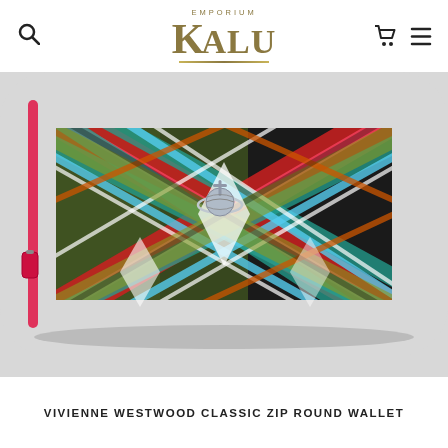EMPORIUM KALU
[Figure (photo): Vivienne Westwood Classic Zip Round Wallet in multicolored tartan pattern with red, green, blue, black and white plaid design and silver orb logo, with pink zipper trim]
VIVIENNE WESTWOOD CLASSIC ZIP ROUND WALLET